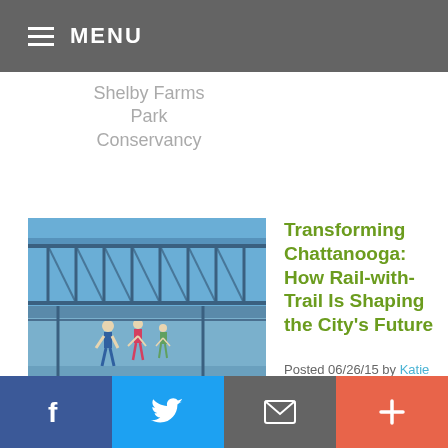MENU
Shelby Farms Park Conservancy
[Figure (photo): Walnut Street Bridge in Chattanooga with people walking on it, blue steel truss bridge]
Walnut Street Bridge in Chattanooga | Photo courtesy The Trust for Public Land
Transforming Chattanooga: How Rail-with-Trail Is Shaping the City's Future
Posted 06/26/15 by Katie Harris in Building Trails, Success Stories
Share via Facebook, Twitter, Email, More